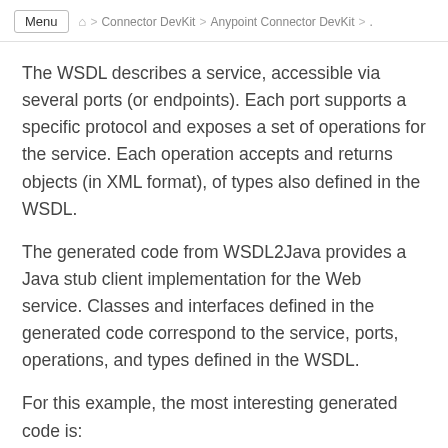Menu > Connector DevKit > Anypoint Connector DevKit > …
The WSDL describes a service, accessible via several ports (or endpoints). Each port supports a specific protocol and exposes a set of operations for the service. Each operation accepts and returns objects (in XML format), of types also defined in the WSDL.
The generated code from WSDL2Java provides a Java stub client implementation for the Web service. Classes and interfaces defined in the generated code correspond to the service, ports, operations, and types defined in the WSDL.
For this example, the most interesting generated code is:
SunSetRiseService class – The top-level class, corresponding to the service